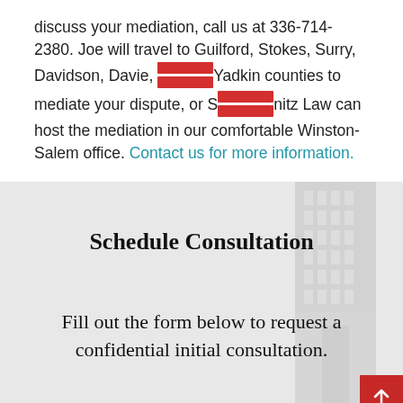discuss your mediation, call us at 336-714-2380. Joe will travel to Guilford, Stokes, Surry, Davidson, Davie, and Yadkin counties to mediate your dispute, or Schmitz Law can host the mediation in our comfortable Winston-Salem office. Contact us for more information.
Schedule Consultation
Fill out the form below to request a confidential initial consultation.